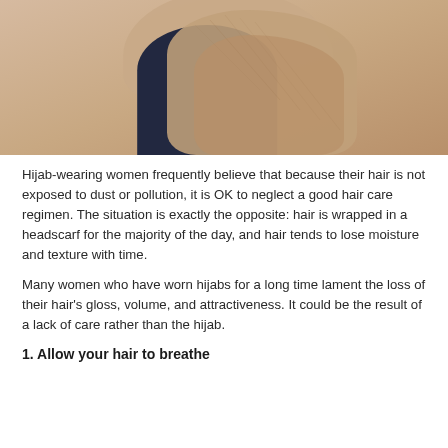[Figure (photo): A woman wearing a beige/tan textured hijab wrapped around her head and shoulders, wearing a dark navy top. The background is a muted warm beige tone. Only the lower portion of the face and the draped hijab/scarf are visible.]
Hijab-wearing women frequently believe that because their hair is not exposed to dust or pollution, it is OK to neglect a good hair care regimen. The situation is exactly the opposite: hair is wrapped in a headscarf for the majority of the day, and hair tends to lose moisture and texture with time.
Many women who have worn hijabs for a long time lament the loss of their hair's gloss, volume, and attractiveness. It could be the result of a lack of care rather than the hijab.
1. Allow your hair to breathe